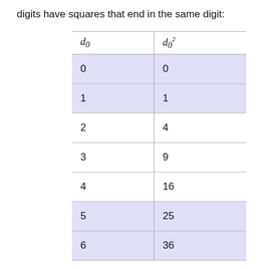digits have squares that end in the same digit:
| d0 | d0² |
| --- | --- |
| 0 | 0 |
| 1 | 1 |
| 2 | 4 |
| 3 | 9 |
| 4 | 16 |
| 5 | 25 |
| 6 | 36 |